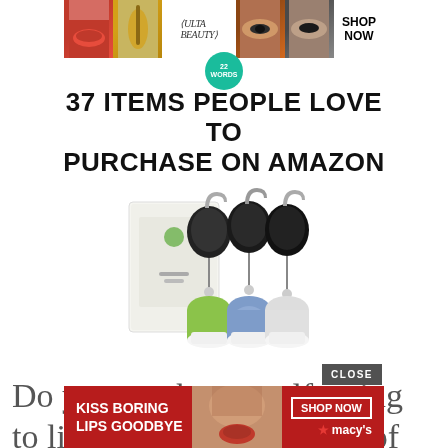[Figure (screenshot): Ulta beauty advertisement banner at top with makeup photos and SHOP NOW button]
[Figure (logo): 22 Words circular teal logo]
37 ITEMS PEOPLE LOVE TO PURCHASE ON AMAZON
[Figure (photo): Product photo of portable silicone travel bottles (green, blue, white) with retractable badge reel clips and product box]
Do you catch yourself trying to live up to the standards of
[Figure (screenshot): Macy's advertisement banner with 'KISS BORING LIPS GOODBYE' text, woman's face, SHOP NOW button, and CLOSE button overlay]